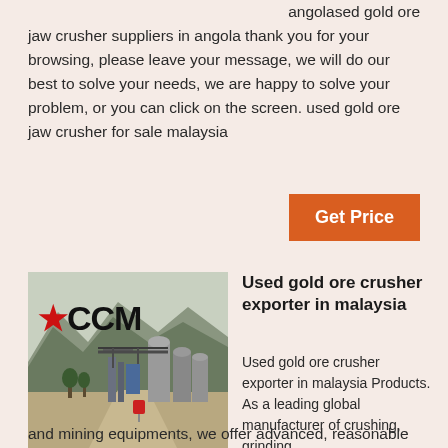angolased gold ore jaw crusher suppliers in angola thank you for your browsing, please leave your message, we will do our best to solve your needs, we are happy to solve your problem, or you can click on the screen. used gold ore jaw crusher for sale malaysia
Get Price
[Figure (photo): CCM branded mining/crushing facility with large silos, industrial equipment, mountains in background, dirt road, with CCM logo overlay]
Used gold ore crusher exporter in malaysia
Used gold ore crusher exporter in malaysia Products. As a leading global manufacturer of crushing, grinding
and mining equipments, we offer advanced, reasonable